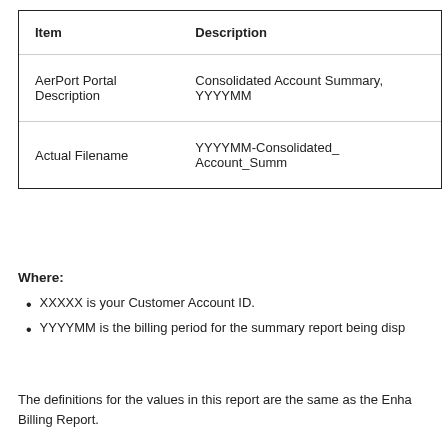| Item | Description |
| --- | --- |
| AerPort Portal Description | Consolidated Account Summary, YYYYMM |
| Actual Filename | YYYYMM-Consolidated_ Account_Summ |
Where:
XXXXX is your Customer Account ID.
YYYYMM is the billing period for the summary report being disp
The definitions for the values in this report are the same as the Enha Billing Report.